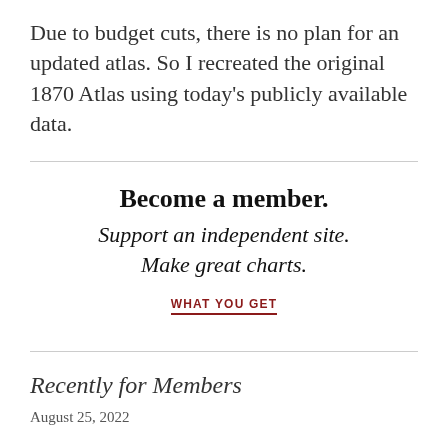Due to budget cuts, there is no plan for an updated atlas. So I recreated the original 1870 Atlas using today's publicly available data.
Become a member. Support an independent site. Make great charts.
WHAT YOU GET
Recently for Members
August 25, 2022